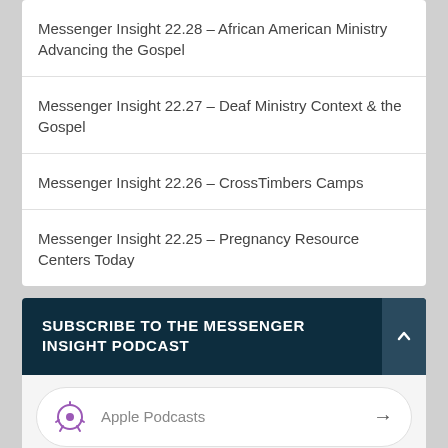Messenger Insight 22.28 – African American Ministry Advancing the Gospel
Messenger Insight 22.27 – Deaf Ministry Context & the Gospel
Messenger Insight 22.26 – CrossTimbers Camps
Messenger Insight 22.25 – Pregnancy Resource Centers Today
SUBSCRIBE TO THE MESSENGER INSIGHT PODCAST
Apple Podcasts
Google Podcasts